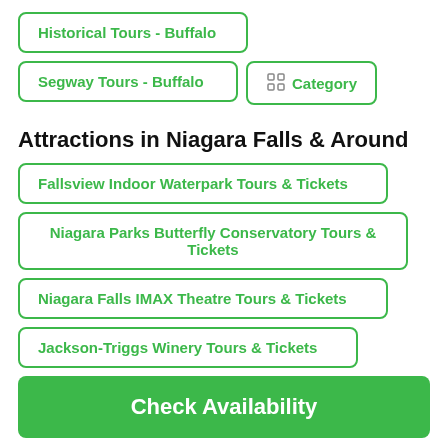Historical Tours - Buffalo
Segway Tours - Buffalo
Category
Attractions in Niagara Falls & Around
Fallsview Indoor Waterpark Tours & Tickets
Niagara Parks Butterfly Conservatory Tours & Tickets
Niagara Falls IMAX Theatre Tours & Tickets
Jackson-Triggs Winery Tours & Tickets
Check Availability